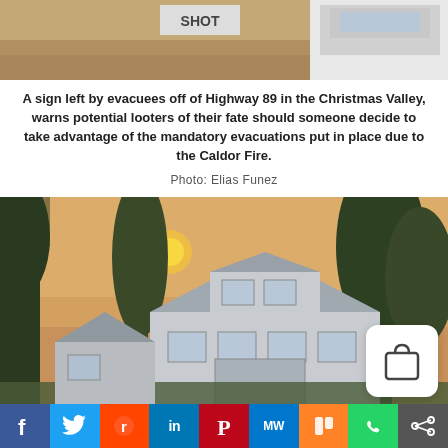[Figure (photo): Top portion of a photo showing dirt ground and a vehicle or RV, partially cropped]
A sign left by evacuees off of Highway 89 in the Christmas Valley, warns potential looters of their fate should someone decide to take advantage of the mandatory evacuations put in place due to the Caldor Fire.
Photo: Elias Funez
[Figure (photo): Photo of a house with tall pine trees and an orange smoky sky from the Caldor Fire. A shopping bag icon overlay appears at the bottom right.]
[Figure (infographic): Social media sharing bar with buttons for Facebook, Twitter, Reddit, LinkedIn, Pinterest, MeWe, Mix, WhatsApp, and Share]